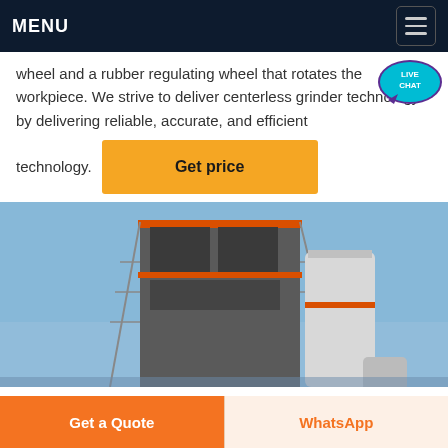MENU
wheel and a rubber regulating wheel that rotates the workpiece. We strive to deliver centerless grinder technology by delivering reliable, accurate, and efficient technology.
[Figure (other): Live Chat speech bubble icon with 'LIVE CHAT' text in purple/teal]
[Figure (other): Get price button in orange/yellow]
[Figure (photo): Industrial facility with tall steel structure, scaffolding, large cylindrical silos and equipment against a blue sky]
Get a Quote
WhatsApp